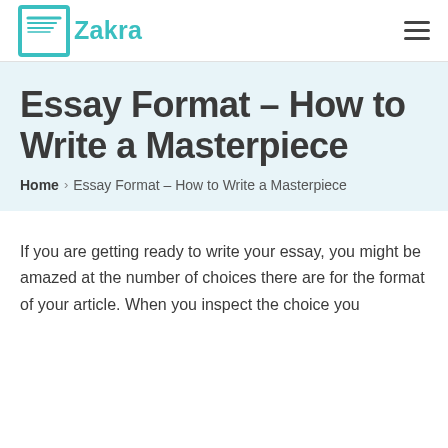Zakra
Essay Format – How to Write a Masterpiece
Home › Essay Format – How to Write a Masterpiece
If you are getting ready to write your essay, you might be amazed at the number of choices there are for the format of your article. When you inspect the choice you